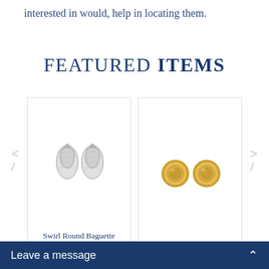interested in would, help in locating them.
FEATURED ITEMS
[Figure (photo): Swirl Round Baguette Diamond Earrings in White Gold, clip-on style, shown as a pair on white background]
Swirl Round Baguette Diamond Earring White Gold Cli
[Figure (photo): Estate Button Faceted gold earrings shown as a pair on white background]
Estate Button Facete
Leave a message